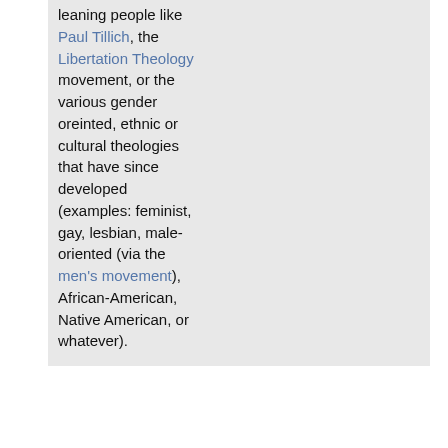leaning people like Paul Tillich, the Libertation Theology movement, or the various gender oreinted, ethnic or cultural theologies that have since developed (examples: feminist, gay, lesbian, male-oriented (via the men's movement), African-American, Native American, or whatever).
[Figure (infographic): Social sharing bar with Twitter, Facebook, Delicious, Digg, StumbleUpon, Reddit icons, plus 'I like it!' button and '2 C!s' counter]
by (definition)Webster 1913 Wed Dec 22 1999 at 3:46:15